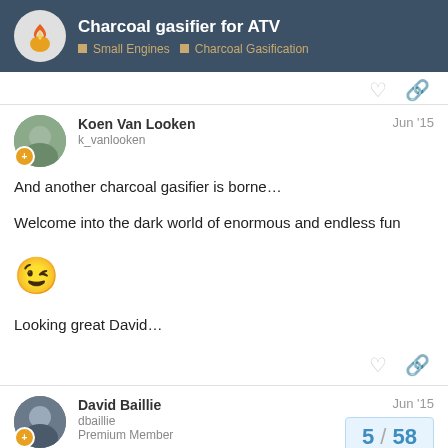Charcoal gasifier for ATV | Small Engines | Charcoal Gasification
And another charcoal gasifier is borne…

Welcome into the dark world of enormous and endless fun

😉

Looking great David…
Koen Van Looken
k_vanlooken
Jun '15
David Baillie
dbaillie
Premium Member
Jun '15
5 / 58